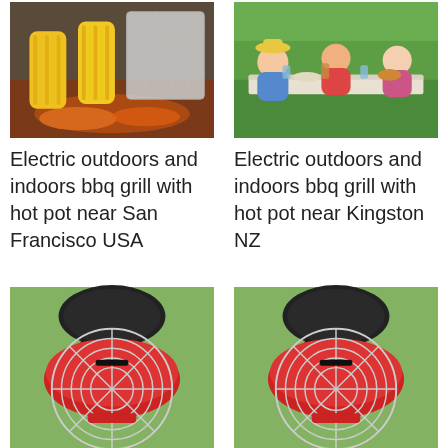[Figure (photo): Corn on the cob and foil-wrapped food on a grill with orange embers]
Electric outdoors and indoors bbq grill with hot pot near San Francisco USA
[Figure (photo): Group of people sitting outdoors at a table celebrating with drinks and food]
Electric outdoors and indoors bbq grill with hot pot near Kingston NZ
[Figure (photo): Red electric BBQ grill with round wire grate on grass]
Electric outdoors and indoors bbq grill with
[Figure (photo): Red electric BBQ grill with round wire grate on grass (duplicate)]
Electric outdoors and indoors bbq grill with